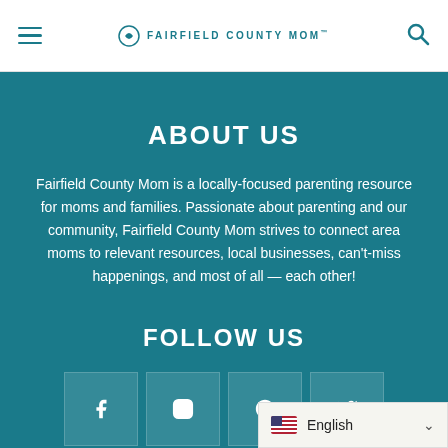Fairfield County Mom
ABOUT US
Fairfield County Mom is a locally-focused parenting resource for moms and families. Passionate about parenting and our community, Fairfield County Mom strives to connect area moms to relevant resources, local businesses, can't-miss happenings, and most of all — each other!
FOLLOW US
[Figure (other): Social media icons: Facebook, Instagram, Pinterest, Twitter]
English